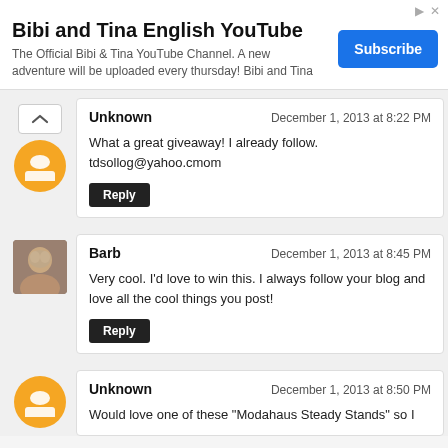[Figure (other): Advertisement banner for Bibi and Tina English YouTube channel with Subscribe button]
Unknown
December 1, 2013 at 8:22 PM
What a great giveaway! I already follow.
tdsollog@yahoo.cmom
Reply
Barb
December 1, 2013 at 8:45 PM
Very cool. I'd love to win this. I always follow your blog and love all the cool things you post!
Reply
Unknown
December 1, 2013 at 8:50 PM
Would love one of these "Modahaus Steady Stands" so I